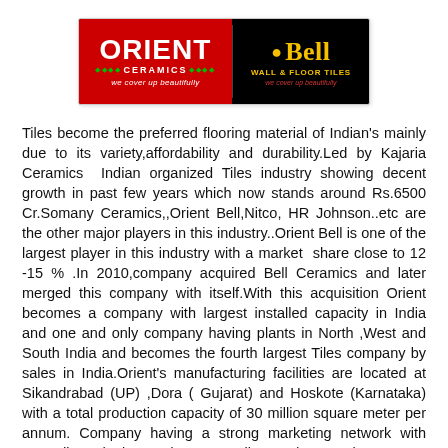[Figure (logo): Orient Ceramics and Bell Wall & Floor Tiles combined logo. Left side: red background with ORIENT in white bold text, CERAMICS in white with green decorative dots, tagline 'we cover up beautifully'. Right side: black background with yellow Bell logo (bell icon), 'Bell' in yellow, 'WALL & FLOOR TILES' in yellow, tagline 'we cover up beautifully' in red.]
Tiles become the preferred flooring material of Indian's mainly due to its variety,affordability and durability.Led by Kajaria Ceramics  Indian organized Tiles industry showing decent growth in past few years which now stands around Rs.6500 Cr.Somany Ceramics,,Orient Bell,Nitco, HR Johnson..etc are the other major players in this industry..Orient Bell is one of the largest player in this industry with a market  share close to 12 -15 % .In 2010,company acquired Bell Ceramics and later merged this company with itself.With this acquisition Orient becomes a company with largest installed capacity in India and one and only company having plants in North ,West and South India and becomes the fourth largest Tiles company by sales in India.Orient's manufacturing facilities are located at Sikandrabad (UP) ,Dora ( Gujarat) and Hoskote (Karnataka) with a total production capacity of 30 million square meter per annum. Company having a strong marketing network with 2500 direct dealers and 9000 Retailers and 30 Stock